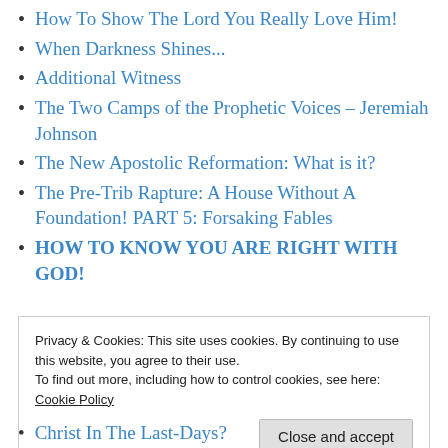How To Show The Lord You Really Love Him!
When Darkness Shines...
Additional Witness
The Two Camps of the Prophetic Voices – Jeremiah Johnson
The New Apostolic Reformation: What is it?
The Pre-Trib Rapture: A House Without A Foundation! PART 5: Forsaking Fables
HOW TO KNOW YOU ARE RIGHT WITH GOD!
Privacy & Cookies: This site uses cookies. By continuing to use this website, you agree to their use.
To find out more, including how to control cookies, see here: Cookie Policy
Christ In The Last-Days?